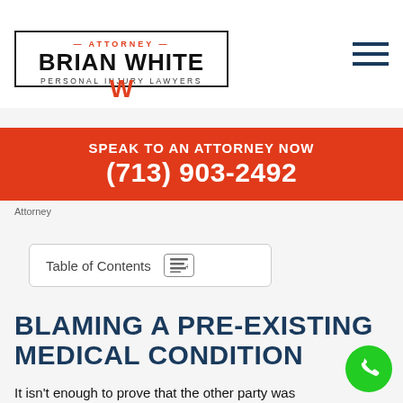[Figure (logo): Attorney Brian White Personal Injury Lawyers logo with red W emblem and hamburger menu icon]
SPEAK TO AN ATTORNEY NOW
(713) 903-2492
Attorney
Table of Contents
BLAMING A PRE-EXISTING MEDICAL CONDITION
It isn't enough to prove that the other party was negligent; you must also show that their negligence